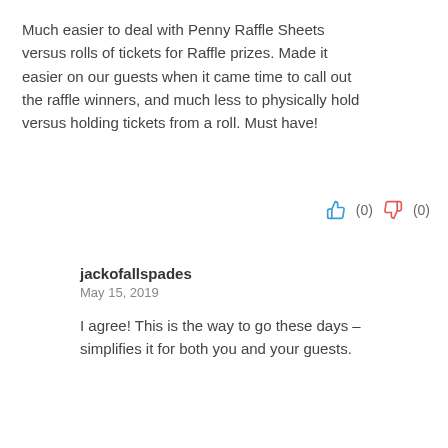Much easier to deal with Penny Raffle Sheets versus rolls of tickets for Raffle prizes. Made it easier on our guests when it came time to call out the raffle winners, and much less to physically hold versus holding tickets from a roll. Must have!
(0)  (0)
jackofallspades
May 15, 2019
I agree! This is the way to go these days – simplifies it for both you and your guests.